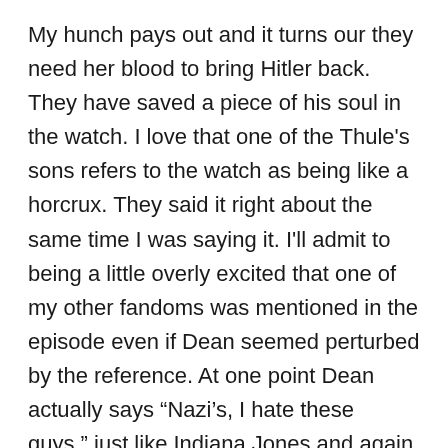My hunch pays out and it turns our they need her blood to bring Hitler back. They have saved a piece of his soul in the watch. I love that one of the Thule's sons refers to the watch as being like a horcrux. They said it right about the same time I was saying it. I'll admit to being a little overly excited that one of my other fandoms was mentioned in the episode even if Dean seemed perturbed by the reference. At one point Dean actually says “Nazi’s, I hate these guys.” just like Indiana Jones and again I was overwhelmed by the reference. This episode gave me a lot of fun “fangirl” moments.
The Thules are transferring the blood from Ellie into one of the other Thules who has decided he is more fit